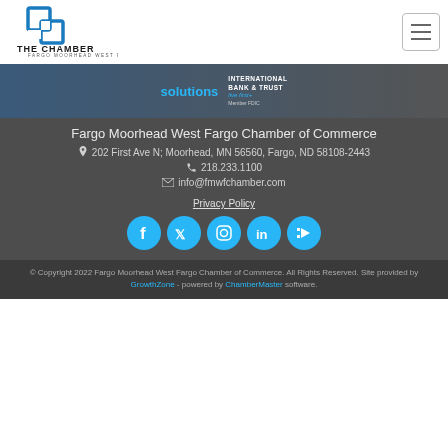[Figure (logo): The Chamber Fargo Moorhead West Fargo logo with two interlocking blue squares and text below]
[Figure (photo): Banner image showing banking solutions advertisement with International Bank & Trust logo and 'live first+' tagline, Member FDIC]
Fargo Moorhead West Fargo Chamber of Commerce
202 First Ave N; Moorhead, MN 56560, Fargo, ND 58108-2443
218.233.1100
info@fmwfchamber.com
Privacy Policy
[Figure (illustration): Social media icons: Facebook, Twitter, Instagram, LinkedIn, YouTube — all in teal/cyan circles]
© Copyright 2022 Fargo Moorhead West Fargo Chamber of Commerce. All Rights Reserved. Site provided by GrowthZone - powered by ChamberMaster software.